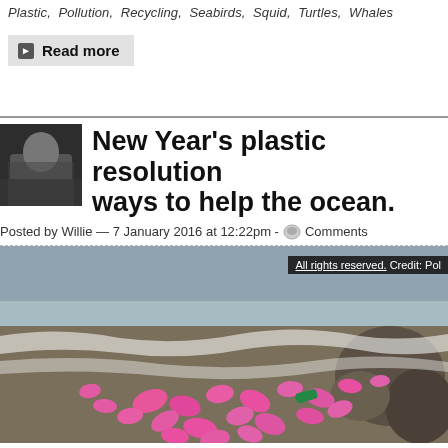Plastic, Pollution, Recycling, Seabirds, Squid, Turtles, Whales
Read more
New Year's plastic resolutions: ways to help the ocean.
Posted by Willie — 7 January 2016 at 12:22pm - Comments
[Figure (photo): Beach covered in pink plastic debris with ocean waves, with overlay text 'All rights reserved. Credit: Pol...']